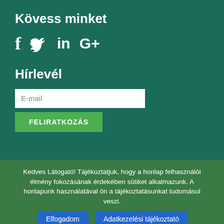Kövess minket
[Figure (infographic): Social media icons: Facebook (f), Twitter (bird), LinkedIn (in), Google+ (G+) in white on dark green background]
Hírlevél
E-mail
FELIRATKOZÁS
Kedves Látogató! Tájékoztatjuk, hogy a honlap felhasználói élmény fokozásának érdekében sütiket alkalmazunk. A honlapunk használatával ön a tájékoztatásunkat tudomásul veszi.
Elfogadom
Adatkezelési tájékoztató